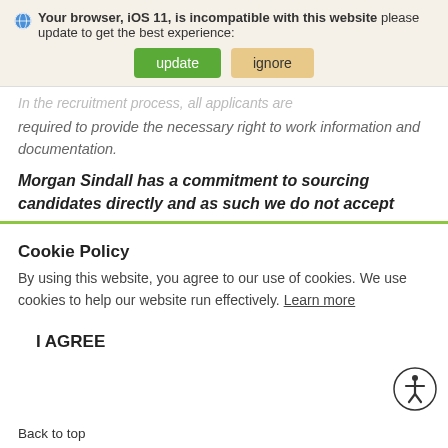Your browser, iOS 11, is incompatible with this website please update to get the best experience: [update] [ignore]
In the recruitment process, all applicants are required to provide the necessary right to work information and documentation.
Morgan Sindall has a commitment to sourcing candidates directly and as such we do not accept
Cookie Policy
By using this website, you agree to our use of cookies. We use cookies to help our website run effectively. Learn more
I AGREE
Back to top